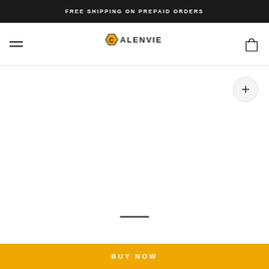FREE SHIPPING ON PREPAID ORDERS
[Figure (logo): Calenvie brand logo with hexagon C icon and text CALENVIE]
[Figure (photo): Product image area (white/empty product display area with zoom button and carousel indicator)]
BUY NOW